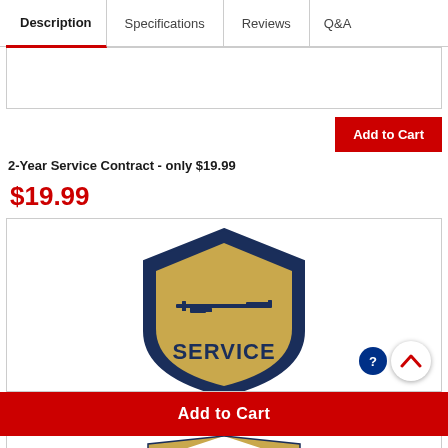Description | Specifications | Reviews | Q&A
2-Year Service Contract - only $19.99
$19.99
[Figure (logo): Service contract shield logo with rifle silhouette and text SERVICE in gold and navy colors]
Add to Cart